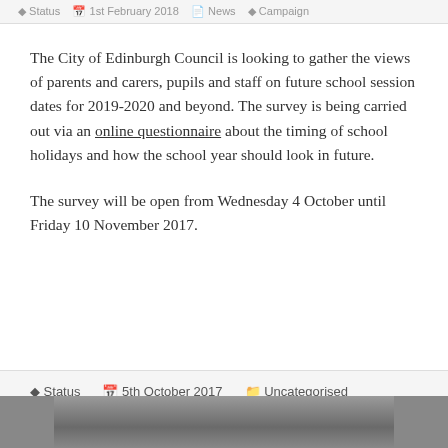Status   1st February 2018   News   Campaign
The City of Edinburgh Council is looking to gather the views of parents and carers, pupils and staff on future school session dates for 2019-2020 and beyond. The survey is being carried out via an online questionnaire about the timing of school holidays and how the school year should look in future.
The survey will be open from Wednesday 4 October until Friday 10 November 2017.
Status   5th October 2017   Uncategorised
[Figure (photo): Partial photograph visible at the bottom of the page, appears to show people outdoors, cropped.]